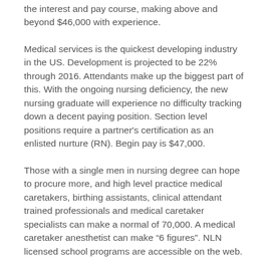the interest and pay course, making above and beyond $46,000 with experience.
Medical services is the quickest developing industry in the US. Development is projected to be 22% through 2016. Attendants make up the biggest part of this. With the ongoing nursing deficiency, the new nursing graduate will experience no difficulty tracking down a decent paying position. Section level positions require a partner's certification as an enlisted nurture (RN). Begin pay is $47,000.
Those with a single men in nursing degree can hope to procure more, and high level practice medical caretakers, birthing assistants, clinical attendant trained professionals and medical caretaker specialists can make a normal of 70,000. A medical caretaker anesthetist can make “6 figures”. NLN licensed school programs are accessible on the web.
The second quickest developing industry in the US is